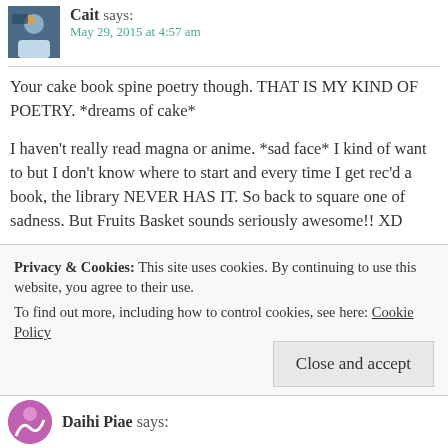Cait says: May 29, 2015 at 4:57 am
Your cake book spine poetry though. THAT IS MY KIND OF POETRY. *dreams of cake*
I haven't really read magna or anime. *sad face* I kind of want to but I don't know where to start and every time I get rec'd a book, the library NEVER HAS IT. So back to square one of sadness. But Fruits Basket sounds seriously awesome!! XD
★ Like
Privacy & Cookies: This site uses cookies. By continuing to use this website, you agree to their use.
To find out more, including how to control cookies, see here: Cookie Policy
Close and accept
Daihi Piae says: